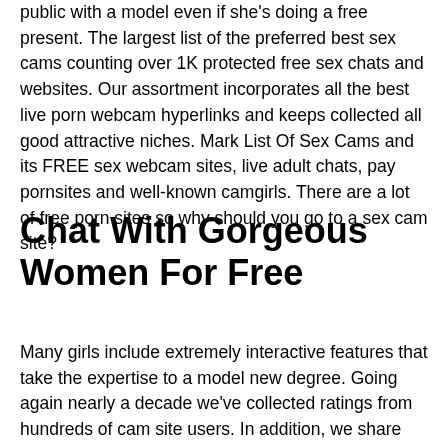public with a model even if she's doing a free present. The largest list of the preferred best sex cams counting over 1K protected free sex chats and websites. Our assortment incorporates all the best live porn webcam hyperlinks and keeps collected all good attractive niches. Mark List Of Sex Cams and its FREE sex webcam sites, live adult chats, pay pornsites and well-known camgirls. There are a lot of free porn sites so why should you go to a sex cam site?
Chat With Gorgeous Women For Free
Many girls include extremely interactive features that take the expertise to a model new degree. Going again nearly a decade we've collected ratings from hundreds of cam site users. In addition, we share our own more detailed logs that highlight specific experiences using every of the most popular webcam